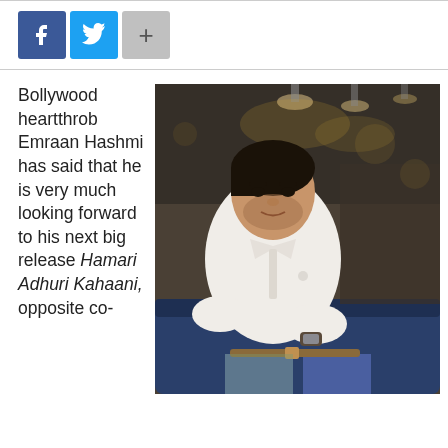[Figure (other): Social media share buttons: Facebook (blue), Twitter (light blue), and a plus button (gray)]
Bollywood heartthrob Emraan Hashmi has said that he is very much looking forward to his next big release Hamari Adhuri Kahaani, opposite co-
[Figure (photo): Photo of Emraan Hashmi, a Bollywood actor, wearing a white shirt and blue trousers, sitting casually in a dimly lit restaurant/bar setting with pendant lights in the background.]